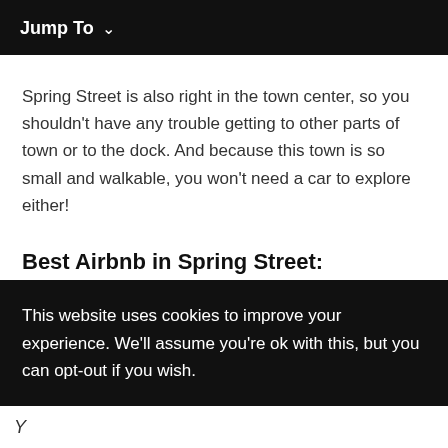Jump To ∨
Spring Street is also right in the town center, so you shouldn't have any trouble getting to other parts of town or to the dock. And because this town is so small and walkable, you won't need a car to explore either!
Best Airbnb in Spring Street: Downtown Friday Harbor
This website uses cookies to improve your experience. We'll assume you're ok with this, but you can opt-out if you wish.